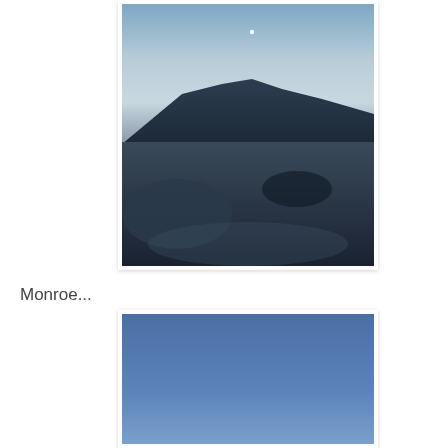[Figure (photo): Outdoor winter landscape photo showing a snow-covered terrain with mountains in the background under a twilight/dawn sky. A faint crescent moon or star is visible in the upper center of the sky. The foreground shows snow drifts and mounds. The scene has a cold, bluish tone.]
Monroe...
[Figure (photo): Outdoor photo showing a predominantly blue sky — medium to steel blue, gradient from deeper blue at top to lighter blue toward the bottom. Possibly a sky-only photo or the beginning of another winter/outdoor scene.]